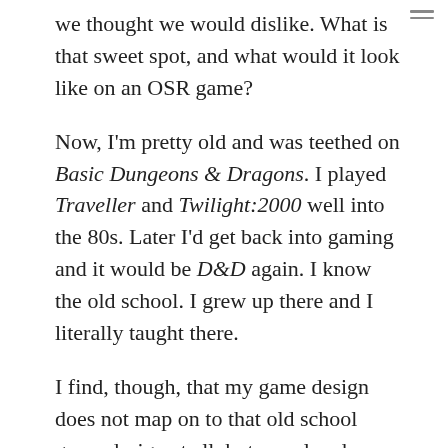we thought we would dislike. What is that sweet spot, and what would it look like on an OSR game?
Now, I'm pretty old and was teethed on Basic Dungeons & Dragons. I played Traveller and Twilight:2000 well into the 80s. Later I'd get back into gaming and it would be D&D again. I know the old school. I grew up there and I literally taught there.
I find, though, that my game design does not map on to that old school game design at all, but my play does map onto my old school play. So I'd like to wonder out loud about that now.
The Soft Horizon system is sort of powered by (more set off by) the apocalypse. But there are no